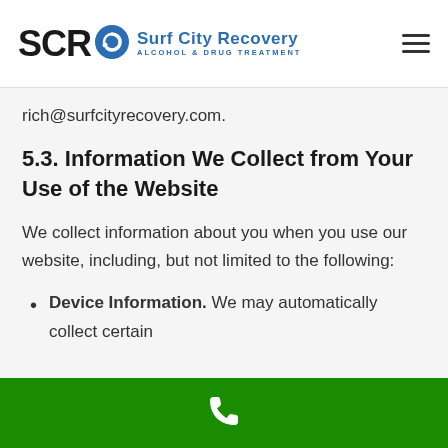SCR Surf City Recovery ALCOHOL & DRUG TREATMENT
rich@surfcityrecovery.com.
5.3. Information We Collect from Your Use of the Website
We collect information about you when you use our website, including, but not limited to the following:
Device Information. We may automatically collect certain